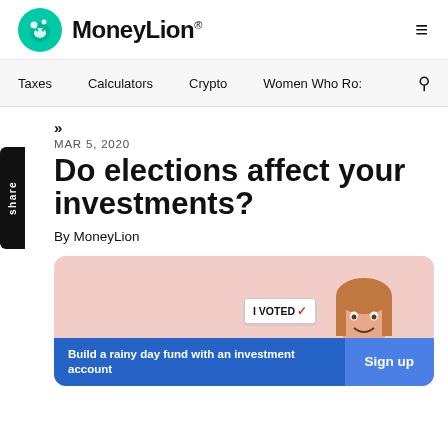MoneyLion
Taxes  Calculators  Crypto  Women Who Ro:
»
MAR 5, 2020
Do elections affect your investments?
By MoneyLion
[Figure (photo): Woman smiling and holding an 'I VOTED ✓' card, on a pink background. A call-to-action banner at the bottom reads 'Build a rainy day fund with an investment account' with a 'Sign up' button.]